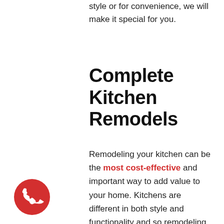style or for convenience, we will make it special for you.
Complete Kitchen Remodels
Remodeling your kitchen can be the most cost-effective and important way to add value to your home. Kitchens are different in both style and functionality and so remodeling projects should not be the same. A quality kitchen remodeling design is a gateway to a home that is comfortable, functional, and inviting. People are attracted to beautiful things and that is exactly what we will offer
[Figure (illustration): Red circular phone icon with white handset symbol]